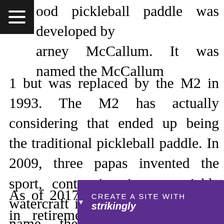wood pickleball paddle was developed by arney McCallum. It was named the McCallum 1 but was replaced by the M2 in 1993. The M2 has actually considering that ended up being the traditional pickleball paddle. In 2009, three papas invented the sport, contrasting it to a pickle watercraft in staff. Aside from the name, the sport's appeal has proliferated ever since. Today, there are practically three million gamers in the United States, and it has actually spread to numerous areas.
As of 2017, it is readily available in retirement homes ... more about ... unity
[Figure (other): Purple 'Create a site with Strikingly' promotional banner bar overlaid at the bottom of the page, with a dropdown arrow icon on the left and the text CREATE A SITE WITH strikingly in white.]